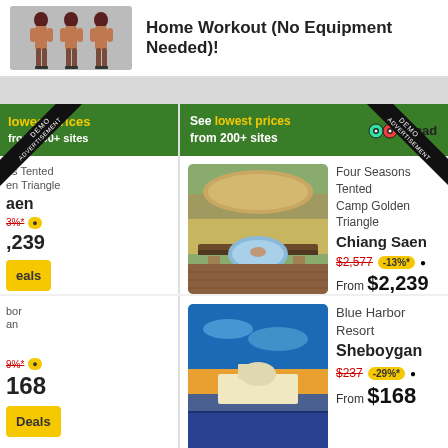[Figure (screenshot): Top advertisement banner showing workout figures and text 'Home Workout (No Equipment Needed)!']
Home Workout (No Equipment Needed)!
[Figure (screenshot): TripAdvisor hotel cards grid showing: Four Seasons Tented Camp Golden Triangle in Chiang Saen from $2,239 (-13%), Blue Harbor Resort in Sheboygan from $168 (-29%), with View Deals buttons and ADVERTISEMENT DEMO ribbons]
See lowest prices from 200+ sites
Four Seasons Tented Camp Golden Triangle
Chiang Saen
$2,577
-13%*
From $2,239
View Deals
Blue Harbor Resort
Sheboygan
$237
-29%*
From $168